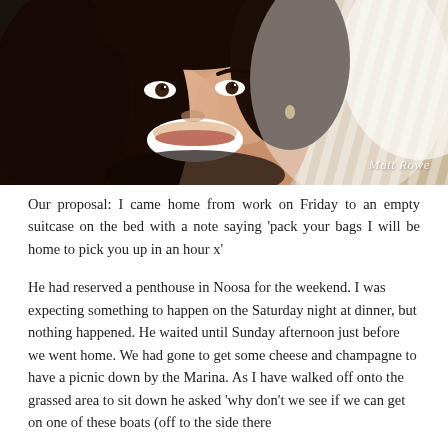[Figure (photo): Close-up portrait photo of a smiling young woman with dark curly hair and dangly earrings, with a blurred striped background. Watermark reads 'Matt Rowe' in cursive in the bottom right corner.]
Our proposal: I came home from work on Friday to an empty suitcase on the bed with a note saying 'pack your bags I will be home to pick you up in an hour x'
He had reserved a penthouse in Noosa for the weekend. I was expecting something to happen on the Saturday night at dinner, but nothing happened. He waited until Sunday afternoon just before we went home. We had gone to get some cheese and champagne to have a picnic down by the Marina. As I have walked off onto the grassed area to sit down he asked 'why don't we see if we can get on one of these boats (off to the side there ... BBQ boat, champagne, etc.)' but then they changed. But...